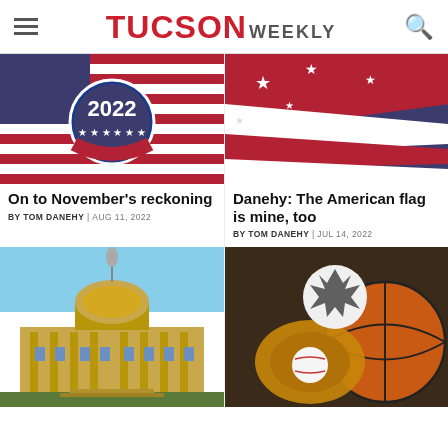TUCSON WEEKLY
[Figure (photo): A 2022 election button with stars on an American flag background]
[Figure (photo): Close-up of an American flag]
On to November's reckoning
BY TOM DANEHY | AUG 11, 2022
Danehy: The American flag is mine, too
BY TOM DANEHY | JUL 14, 2022
[Figure (photo): Arizona State Capitol building with dome]
[Figure (photo): Sports balls including basketball, soccer ball, baseball in glove]